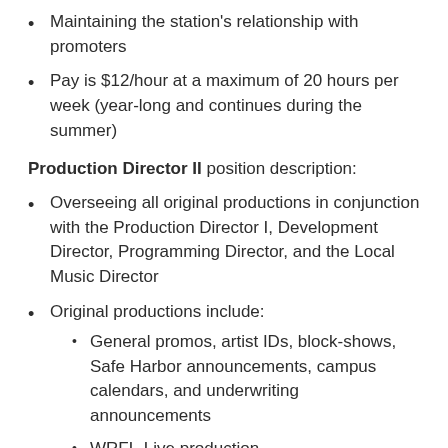Maintaining the station's relationship with promoters
Pay is $12/hour at a maximum of 20 hours per week (year-long and continues during the summer)
Production Director II position description:
Overseeing all original productions in conjunction with the Production Director I, Development Director, Programming Director, and the Local Music Director
Original productions include:
General promos, artist IDs, block-shows, Safe Harbor announcements, campus calendars, and underwriting announcements
WRFL-Live production
Any live, on-air, or recorded performances